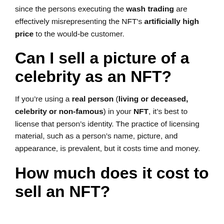since the persons executing the wash trading are effectively misrepresenting the NFT's artificially high price to the would-be customer.
Can I sell a picture of a celebrity as an NFT?
If you’re using a real person (living or deceased, celebrity or non-famous) in your NFT, it’s best to license that person’s identity. The practice of licensing material, such as a person’s name, picture, and appearance, is prevalent, but it costs time and money.
How much does it cost to sell an NFT?